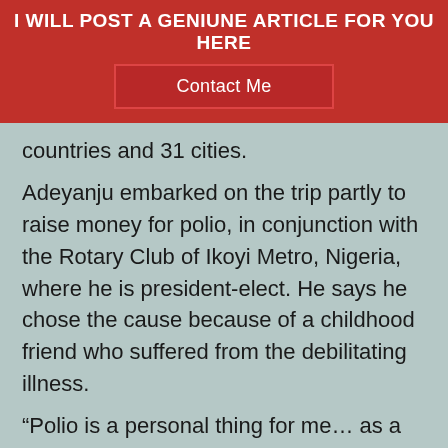I WILL POST A GENIUNE ARTICLE FOR YOU HERE
Contact Me
countries and 31 cities.
Adeyanju embarked on the trip partly to raise money for polio, in conjunction with the Rotary Club of Ikoyi Metro, Nigeria, where he is president-elect. He says he chose the cause because of a childhood friend who suffered from the debilitating illness.
“Polio is a personal thing for me… as a boy, my best friend had polio and when we go swimming or play football, he could do none of those things.. Sadly, my friend passed away